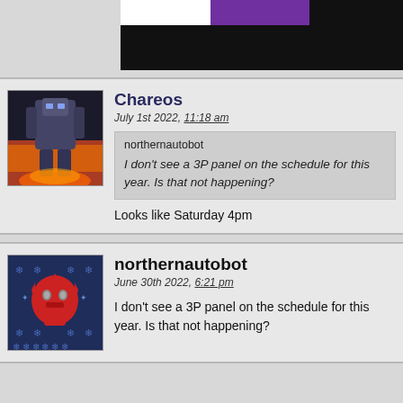[Figure (screenshot): Top banner with white, purple, and black sections partially visible]
Chareos
July 1st 2022, 11:18 am
northernautobot
I don't see a 3P panel on the schedule for this year. Is that not happening?
Looks like Saturday 4pm
northernautobot
June 30th 2022, 6:21 pm
I don't see a 3P panel on the schedule for this year. Is that not happening?